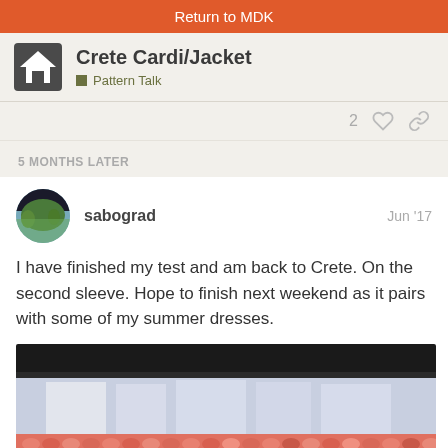Return to MDK
Crete Cardi/Jacket
Pattern Talk
2 ♡ 🔗
5 MONTHS LATER
sabograd   Jun '17
I have finished my test and am back to Crete. On the second sleeve. Hope to finish next weekend as it pairs with some of my summer dresses.
[Figure (photo): Close-up photo of pink/coral knitted fabric, appears to be a knitting project in progress with visible knit stitches.]
14 / 24